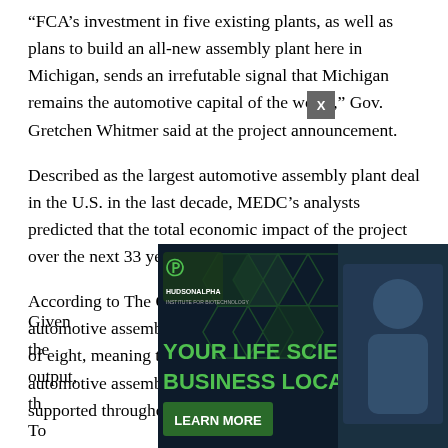“FCA’s investment in five existing plants, as well as plans to build an all-new assembly plant here in Michigan, sends an irrefutable signal that Michigan remains the automotive capital of the world,” Gov. Gretchen Whitmer said at the project announcement.
Described as the largest automotive assembly plant deal in the U.S. in the last decade, MEDC’s analysts predicted that the total economic impact of the project over the next 33 years will be more than $500 billion.
According to The Center for Automotive Research, automotive assembly plant jobs have a multiplier effect of eight, meaning that for every direct job created at an automotive assembly plant, an additional seven jobs are supported throughout the supply chain.
Given the [economic output, th... incentive... MSF). To
[Figure (other): HudsonAlpha Institute for Biotechnology advertisement overlay reading 'YOUR LIFE SCIENCES BUSINESS LOCATION' with a LEARN MORE button, partially covering the bottom of the article text. Has an X close button in the top right corner.]